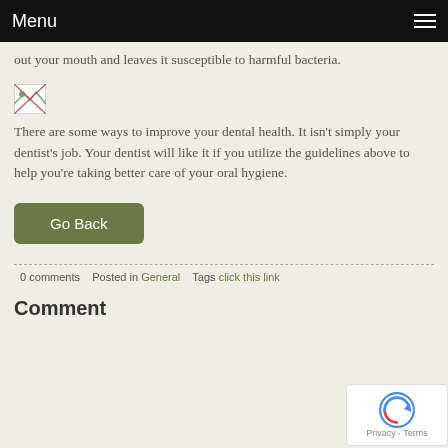Menu
out your mouth and leaves it susceptible to harmful bacteria.
[Figure (photo): Broken image placeholder icon]
There are some ways to improve your dental health. It isn't simply your dentist's job. Your dentist will like it if you utilize the guidelines above to help you're taking better care of your oral hygiene.
Go Back
0 comments   Posted in General   Tags click this link
Comment